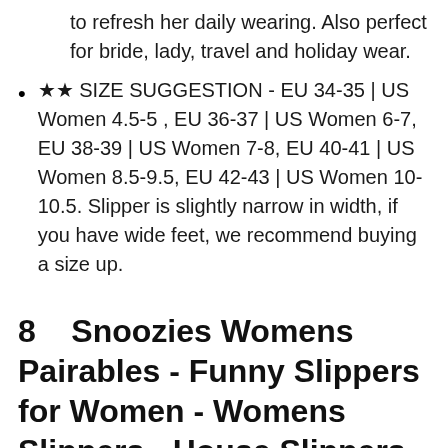to refresh her daily wearing. Also perfect for bride, lady, travel and holiday wear.
★★ SIZE SUGGESTION - EU 34-35 | US Women 4.5-5 , EU 36-37 | US Women 6-7, EU 38-39 | US Women 7-8, EU 40-41 | US Women 8.5-9.5, EU 42-43 | US Women 10-10.5. Slipper is slightly narrow in width, if you have wide feet, we recommend buying a size up.
8    Snoozies Womens Pairables - Funny Slippers for Women - Womens Slippers - House Slippers - Sloth Just Chillin, Large